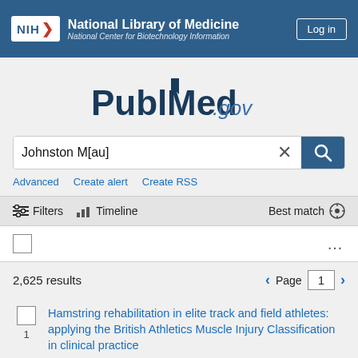NIH National Library of Medicine / National Center for Biotechnology Information — Log in
[Figure (logo): PubMed.gov logo with bookmark icon]
Johnston M[au]
Advanced   Create alert   Create RSS
Filters   Timeline   Best match
2,625 results   Page 1
Hamstring rehabilitation in elite track and field athletes: applying the British Athletics Muscle Injury Classification in clinical practice